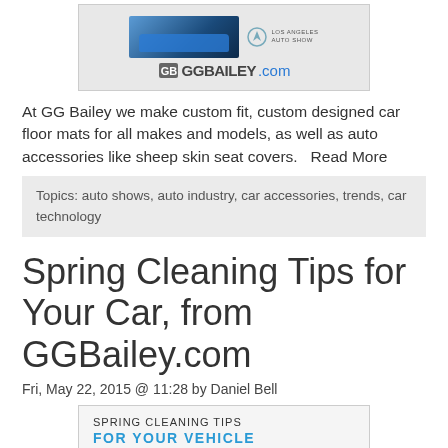[Figure (logo): GG Bailey advertisement banner with blue car, Los Angeles Auto Show logo, and GGBailey.com text]
At GG Bailey we make custom fit, custom designed car floor mats for all makes and models, as well as auto accessories like sheep skin seat covers.   Read More
Topics: auto shows, auto industry, car accessories, trends, car technology
Spring Cleaning Tips for Your Car, from GGBailey.com
Fri, May 22, 2015 @ 11:28 by Daniel Bell
[Figure (infographic): Spring Cleaning Tips For Your Vehicle infographic header with two car cleaning photos below]